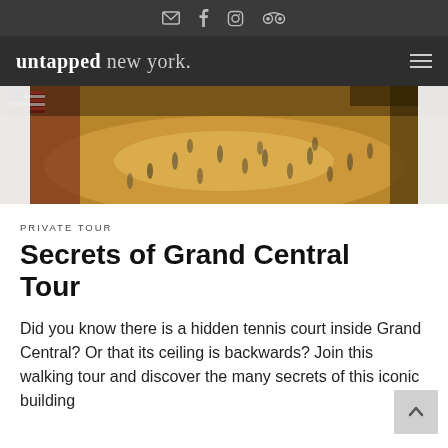untapped new york. [social icons: email, facebook, instagram, tripadvisor]
[Figure (photo): Aerial view of Grand Central Terminal concourse with people walking on the marble floor, warm golden lighting, American flag visible on the left]
PRIVATE TOUR
Secrets of Grand Central Tour
Did you know there is a hidden tennis court inside Grand Central? Or that its ceiling is backwards? Join this walking tour and discover the many secrets of this iconic building